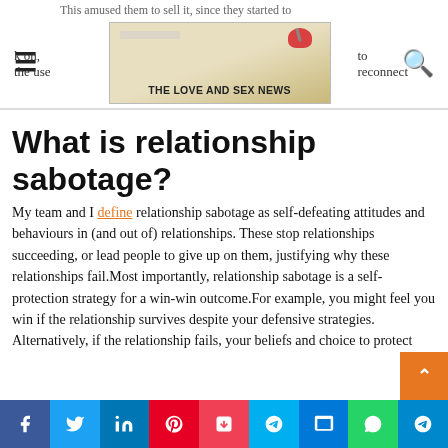THE LOVE AND SEX NEWS
What is relationship sabotage?
My team and I define relationship sabotage as self-defeating attitudes and behaviours in (and out of) relationships. These stop relationships succeeding, or lead people to give up on them, justifying why these relationships fail.Most importantly, relationship sabotage is a self-protection strategy for a win-win outcome.For example, you might feel you win if the relationship survives despite your defensive strategies. Alternatively, if the relationship fails, your beliefs and choice to protect yourself are validated.